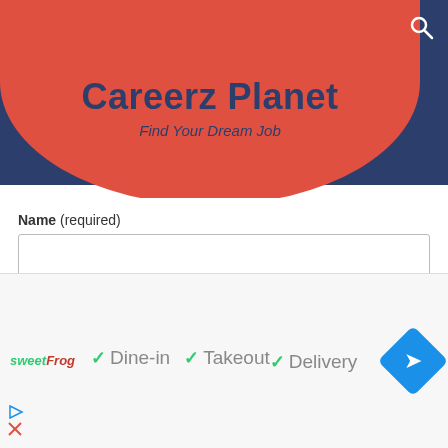[Figure (screenshot): Careerz Planet website header with red rounded logo containing title and subtitle, on dark blue background with search icon]
Careerz Planet
Find Your Dream Job
Name (required)
Email (required)
Subscribe to Your Job Category
UAE Jobs
[Figure (screenshot): Bottom advertisement bar showing sweetFrog logo, dine-in/takeout/delivery options with green checkmarks, and a blue navigation diamond icon]